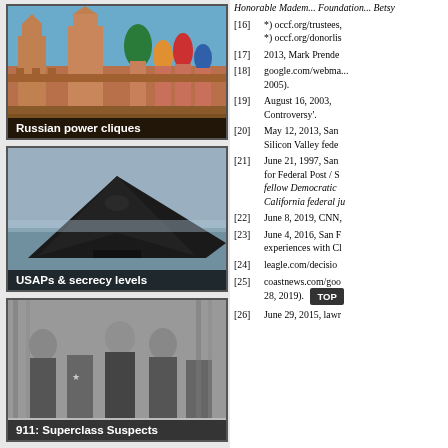[Figure (photo): Aerial/street view of Russian architecture including the Kremlin and St. Basil's Cathedral]
[Figure (photo): Black stealth aircraft (F-117 or similar) in flight against cloudy sky]
[Figure (photo): Black and white photo of group of men in suits, historical image]
Honorable Madem... Foundation... Betsy
[16] *) occf.org/trustees, *) occf.org/donorlis
[17] 2013, Mark Prende
[18] google.com/webma... 2005).
[19] August 16, 2003, Controversy'.
[20] May 12, 2013, San Silicon Valley fede
[21] June 21, 1997, San for Federal Post / S fellow Democratic California federal ju
[22] June 8, 2019, CNN,
[23] June 4, 2016, San F experiences with Cl
[24] leagle.com/decisio
[25] coastnews.com/goo 28, 2019).
[26] June 29, 2015, lawr